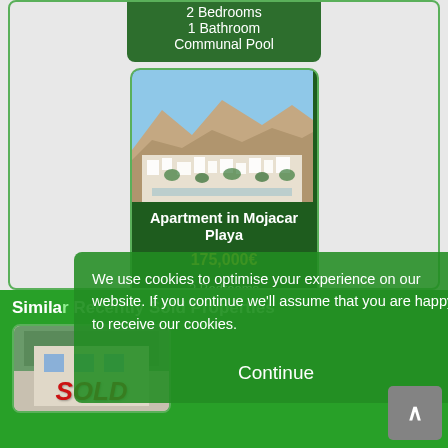2 Bedrooms
1 Bathroom
Communal Pool
[Figure (photo): Aerial photo of Mojacar Playa coastal town with white buildings against mountainous backdrop and blue sky]
Apartment in Mojacar Playa
175,000€
2 Bedrooms
2 Bathrooms
Communal Pool
Similar Recently Sold Properties
[Figure (photo): Property photo with SOLD overlay text in red]
We use cookies to optimise your experience on our website. If you continue we'll assume that you are happy to receive our cookies.

Continue